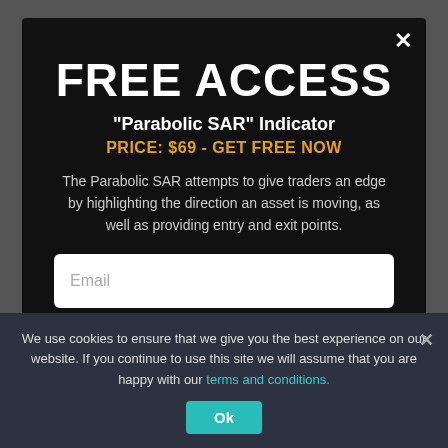FREE ACCESS
"Parabolic SAR" Indicator
PRICE: $69 - GET FREE NOW
The Parabolic SAR attempts to give traders an edge by highlighting the direction an asset is moving, as well as providing entry and exit points.
Email
GET FREE ACCESS
We use cookies to ensure that we give you the best experience on our website. If you continue to use this site we will assume that you are happy with our terms and conditions.
Ok